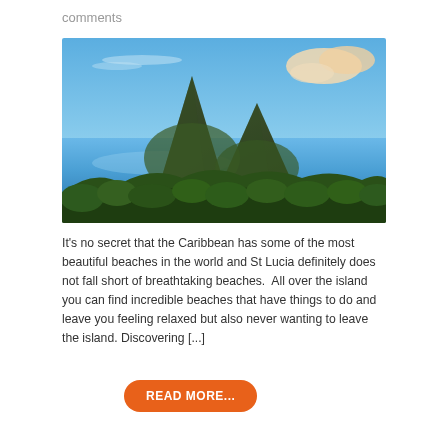comments
[Figure (photo): Scenic tropical landscape showing the Piton mountains of St. Lucia rising above lush green jungle and a bright blue Caribbean bay, with a partly cloudy blue sky and warm clouds at dusk or dawn.]
It's no secret that the Caribbean has some of the most beautiful beaches in the world and St Lucia definitely does not fall short of breathtaking beaches.  All over the island you can find incredible beaches that have things to do and leave you feeling relaxed but also never wanting to leave the island. Discovering [...]
READ MORE...